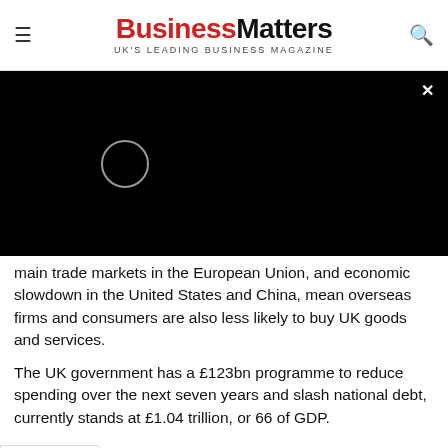Business Matters — UK'S LEADING BUSINESS MAGAZINE
[Figure (screenshot): Black video player overlay with loading spinner and close (x) button]
main trade markets in the European Union, and economic slowdown in the United States and China, mean overseas firms and consumers are also less likely to buy UK goods and services.
The UK government has a £123bn programme to reduce spending over the next seven years and slash national debt, currently stands at £1.04 trillion, or 66 of GDP.
[Figure (infographic): Advertisement banner for LANXESS: Download Brochure with Open button. Features blue automotive/IoT illustration on left and LANXESS branding.]